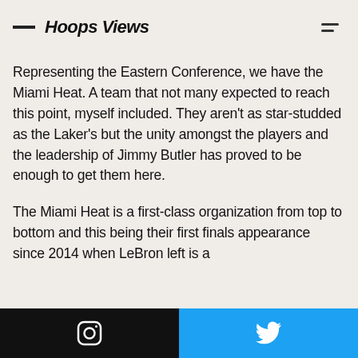Hoops Views
Representing the Eastern Conference, we have the Miami Heat. A team that not many expected to reach this point, myself included. They aren't as star-studded as the Laker's but the unity amongst the players and the leadership of Jimmy Butler has proved to be enough to get them here.
The Miami Heat is a first-class organization from top to bottom and this being their first finals appearance since 2014 when LeBron left is a
Instagram | Twitter